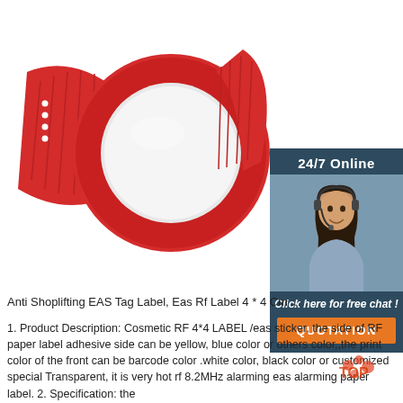[Figure (photo): Red RFID wristband with white circular NFC tag inlay on a white background, with a red adjustable strap.]
[Figure (photo): Customer service representative woman wearing headset smiling, in a dark blue sidebar panel labeled 24/7 Online with a Click here for free chat button and an orange QUOTATION button.]
Anti Shoplifting EAS Tag Label, Eas Rf Label 4 * 4 Cm ...
1. Product Description: Cosmetic RF 4*4 LABEL /eas sticker, the side of RF paper label adhesive side can be yellow, blue color or others color,,the print color of the front can be barcode color .white color, black color or customized special Transparent, it is very hot rf 8.2MHz alarming eas alarming paper label. 2. Specification: the